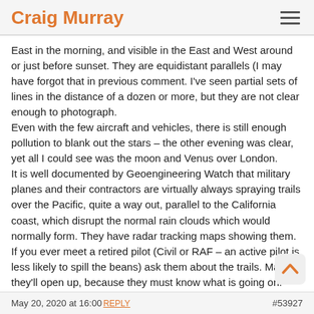Craig Murray
East in the morning, and visible in the East and West around or just before sunset. They are equidistant parallels (I may have forgot that in previous comment. I've seen partial sets of lines in the distance of a dozen or more, but they are not clear enough to photograph.
Even with the few aircraft and vehicles, there is still enough pollution to blank out the stars – the other evening was clear, yet all I could see was the moon and Venus over London.
It is well documented by Geoengineering Watch that military planes and their contractors are virtually always spraying trails over the Pacific, quite a way out, parallel to the California coast, which disrupt the normal rain clouds which would normally form. They have radar tracking maps showing them.
If you ever meet a retired pilot (Civil or RAF – an active pilot is less likely to spill the beans) ask them about the trails. Maybe they'll open up, because they must know what is going on.
May 20, 2020 at 16:00 REPLY  #53927